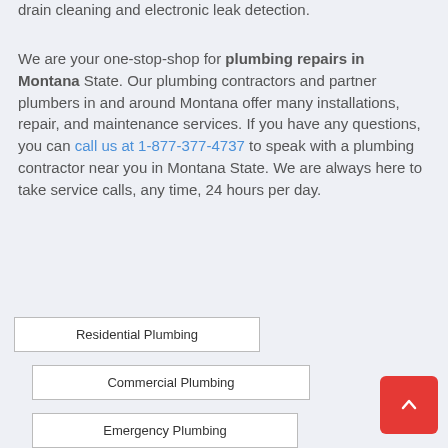drain cleaning and electronic leak detection.
We are your one-stop-shop for plumbing repairs in Montana State. Our plumbing contractors and partner plumbers in and around Montana offer many installations, repair, and maintenance services. If you have any questions, you can call us at 1-877-377-4737 to speak with a plumbing contractor near you in Montana State. We are always here to take service calls, any time, 24 hours per day.
Residential Plumbing
Commercial Plumbing
Emergency Plumbing